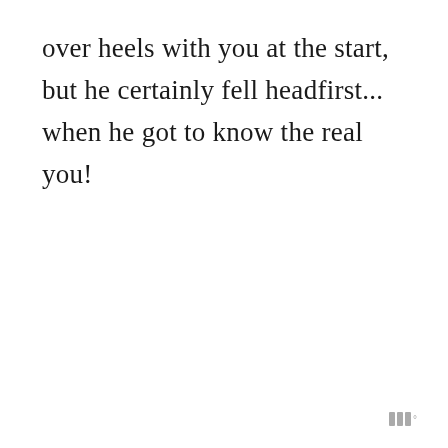over heels with you at the start, but he certainly fell headfirst... when he got to know the real you!
|||°